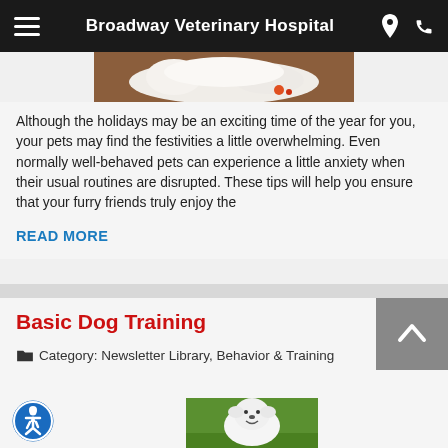Broadway Veterinary Hospital
[Figure (photo): Partial view of a white fluffy dog lying on a surface with holiday items]
Although the holidays may be an exciting time of the year for you, your pets may find the festivities a little overwhelming. Even normally well-behaved pets can experience a little anxiety when their usual routines are disrupted. These tips will help you ensure that your furry friends truly enjoy the
READ MORE
Basic Dog Training
Category: Newsletter Library, Behavior & Training
[Figure (photo): White fluffy dog (Samoyed) on green grass, smiling]